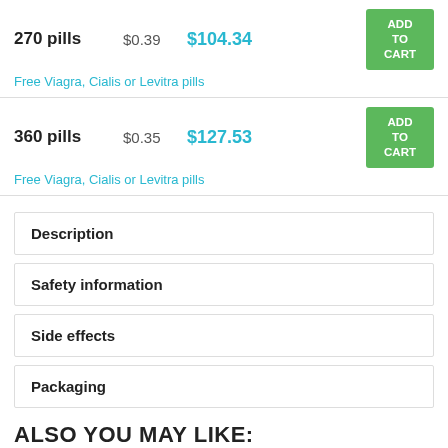270 pills  $0.39  $104.34  ADD TO CART
Free Viagra, Cialis or Levitra pills
360 pills  $0.35  $127.53  ADD TO CART
Free Viagra, Cialis or Levitra pills
Description
Safety information
Side effects
Packaging
ALSO YOU MAY LIKE:
Viagra Soft
Viagra Plus